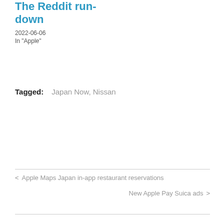The Reddit run-down
2022-06-06
In "Apple"
Tagged:  Japan Now,  Nissan
< Apple Maps Japan in-app restaurant reservations
New Apple Pay Suica ads >